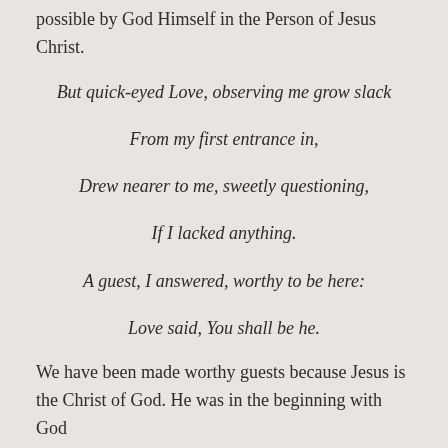possible by God Himself in the Person of Jesus Christ.
But quick-eyed Love, observing me grow slack
From my first entrance in,
Drew nearer to me, sweetly questioning,
If I lacked anything.
A guest, I answered, worthy to be here:
Love said, You shall be he.
We have been made worthy guests because Jesus is the Christ of God. He was in the beginning with God